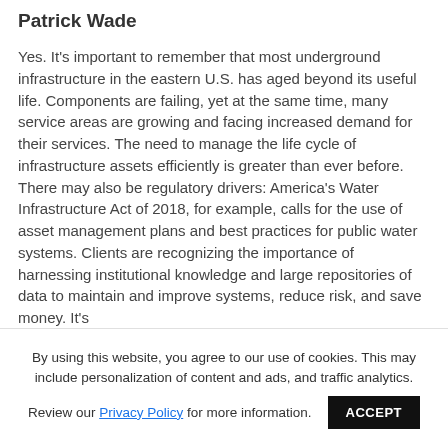Patrick Wade
Yes. It's important to remember that most underground infrastructure in the eastern U.S. has aged beyond its useful life. Components are failing, yet at the same time, many service areas are growing and facing increased demand for their services. The need to manage the life cycle of infrastructure assets efficiently is greater than ever before. There may also be regulatory drivers: America's Water Infrastructure Act of 2018, for example, calls for the use of asset management plans and best practices for public water systems. Clients are recognizing the importance of harnessing institutional knowledge and large repositories of data to maintain and improve systems, reduce risk, and save money. It's working smarter, not harder.
By using this website, you agree to our use of cookies. This may include personalization of content and ads, and traffic analytics. Review our Privacy Policy for more information.